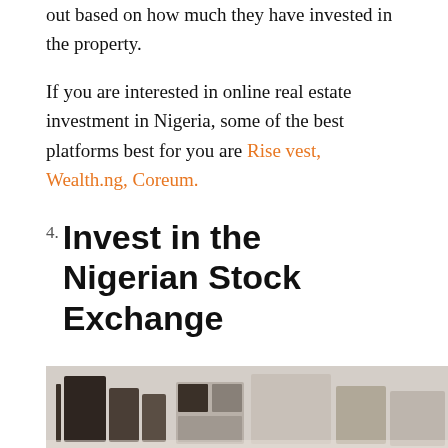out based on how much they have invested in the property.
If you are interested in online real estate investment in Nigeria, some of the best platforms best for you are Rise vest, Wealth.ng, Coreum.
4. Invest in the Nigerian Stock Exchange
To start with, what is a stock, you may ask. A stock is a type of investment that represents an ownership share in a company. Investors buy stocks that they think will go up in value over time.
[Figure (photo): Photo of cardboard boxes or wooden furniture pieces in a room setting]